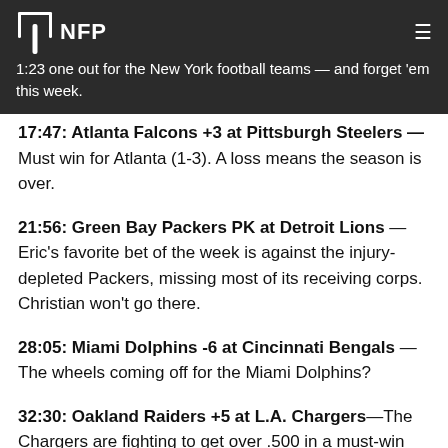NFP — 1:23 — one out for the New York football teams — and forget 'em this week.
17:47: Atlanta Falcons +3 at Pittsburgh Steelers — Must win for Atlanta (1-3). A loss means the season is over.
21:56: Green Bay Packers PK at Detroit Lions — Eric's favorite bet of the week is against the injury-depleted Packers, missing most of its receiving corps. Christian won't go there.
28:05: Miami Dolphins -6 at Cincinnati Bengals — The wheels coming off for the Miami Dolphins?
32:30: Oakland Raiders +5 at L.A. Chargers—The Chargers are fighting to get over .500 in a must-win spot. Eric explains why he's done betting on them for the rest of